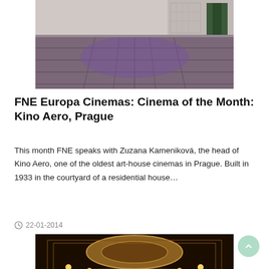[Figure (photo): Exterior photo of a courtyard or pavement at night with purple/violet lighting on stone tiles, viewed from ground level]
FNE Europa Cinemas: Cinema of the Month: Kino Aero, Prague
This month FNE speaks with Zuzana Kameniková, the head of Kino Aero, one of the oldest art-house cinemas in Prague. Built in 1933 in the courtyard of a residential house…
22-01-2014
[Figure (photo): Interior photo of an ornate cinema hall with golden decorative ceiling, warm lighting, balconies and a screen visible at the back]